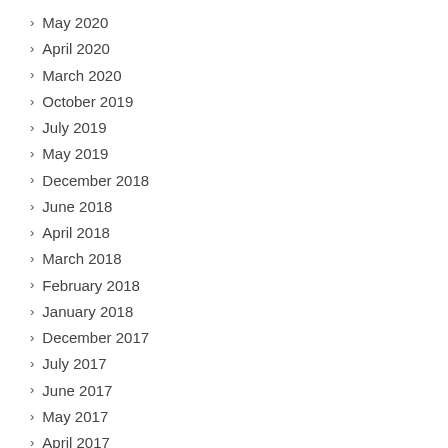May 2020
April 2020
March 2020
October 2019
July 2019
May 2019
December 2018
June 2018
April 2018
March 2018
February 2018
January 2018
December 2017
July 2017
June 2017
May 2017
April 2017
March 2017
January 2016
December 2015
November 2015